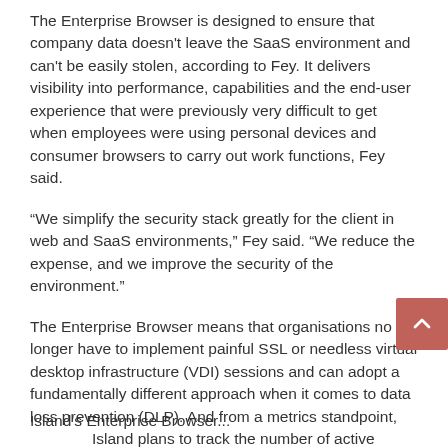The Enterprise Browser is designed to ensure that company data doesn't leave the SaaS environment and can't be easily stolen, according to Fey. It delivers visibility into performance, capabilities and the end-user experience that were previously very difficult to get when employees were using personal devices and consumer browsers to carry out work functions, Fey said.
“We simplify the security stack greatly for the client in web and SaaS environments,” Fey said. “We reduce the expense, and we improve the security of the environment.”
The Enterprise Browser means that organisations no longer have to implement painful SSL or needless virtual desktop infrastructure (VDI) sessions and can adopt a fundamentally different approach when it comes to data loss prevention (DLP). And from a metrics standpoint, Island plans to track the number of active Enterprise Browser users, the number of aggregate clients, and the value that's being delivered.
Island's Enterprise Browser...